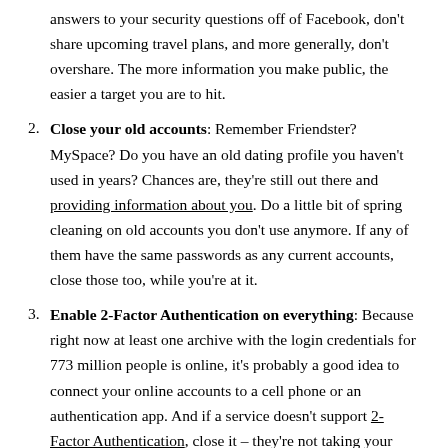answers to your security questions off of Facebook, don't share upcoming travel plans, and more generally, don't overshare. The more information you make public, the easier a target you are to hit.
Close your old accounts: Remember Friendster? MySpace? Do you have an old dating profile you haven't used in years? Chances are, they're still out there and providing information about you. Do a little bit of spring cleaning on old accounts you don't use anymore. If any of them have the same passwords as any current accounts, close those too, while you're at it.
Enable 2-Factor Authentication on everything: Because right now at least one archive with the login credentials for 773 million people is online, it's probably a good idea to connect your online accounts to a cell phone or an authentication app. And if a service doesn't support 2-Factor Authentication, close it – they're not taking your security seriously enough.
Create...